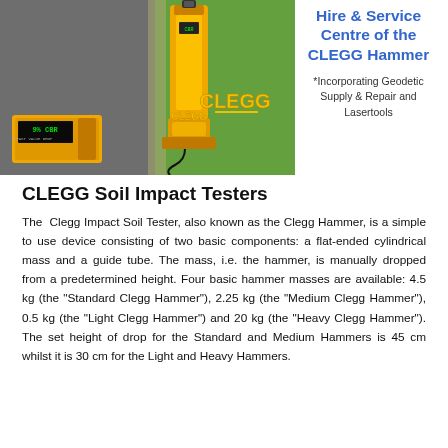[Figure (photo): Yellow CLEGG hammer device standing on tarmac/grass surface, with a separate display unit showing '9% CBR' reading; CLEGG logo visible on the device]
Hire & Service Centre of the CLEGG Hammer
*Incorporating Geodetic Supply & Repair and Lasertools
CLEGG Soil Impact Testers
The Clegg Impact Soil Tester, also known as the Clegg Hammer, is a simple to use device consisting of two basic components: a flat-ended cylindrical mass and a guide tube. The mass, i.e. the hammer, is manually dropped from a predetermined height. Four basic hammer masses are available: 4.5 kg (the "Standard Clegg Hammer"), 2.25 kg (the "Medium Clegg Hammer"), 0.5 kg (the "Light Clegg Hammer") and 20 kg (the "Heavy Clegg Hammer"). The set height of drop for the Standard and Medium Hammers is 45 cm whilst it is 30 cm for the Light and Heavy Hammers.